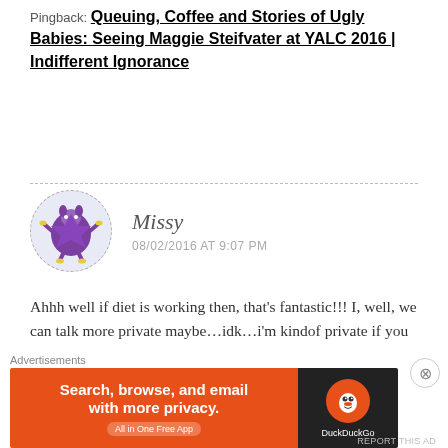Pingback: Queuing, Coffee and Stories of Ugly Babies: Seeing Maggie Steifvater at YALC 2016 | Indifferent Ignorance
Missy
08/02/2016 AT 9:07 PM
Ahhh well if diet is working then, that’s fantastic!!! I, well, we can talk more private maybe…idk…i’m kindof private if you aren’t…but the yogurt alone wasn’t working long term and it was also aggravating my other issues so…probiotics are necessary for me!
[Figure (other): DuckDuckGo advertisement banner: orange left panel reading 'Search, browse, and email with more privacy. All in One Free App' and dark right panel with DuckDuckGo logo]
Advertisements